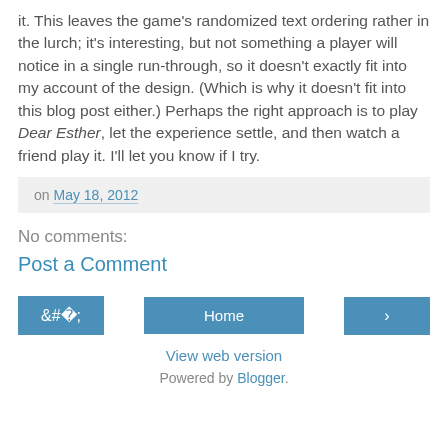it. This leaves the game's randomized text ordering rather in the lurch; it's interesting, but not something a player will notice in a single run-through, so it doesn't exactly fit into my account of the design. (Which is why it doesn't fit into this blog post either.) Perhaps the right approach is to play Dear Esther, let the experience settle, and then watch a friend play it. I'll let you know if I try.
on May 18, 2012
No comments:
Post a Comment
Home
View web version
Powered by Blogger.